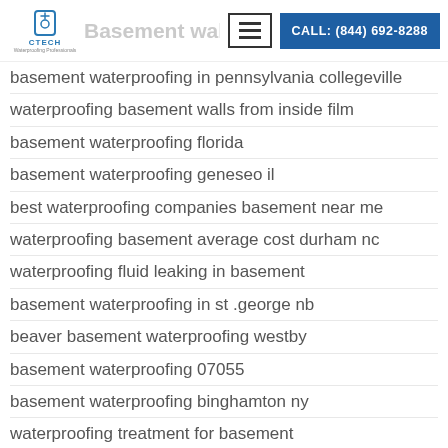CTECH Basement Waterproofing Professionals — CALL: (844) 692-8288
basement waterproofing in pennsylvania collegeville
waterproofing basement walls from inside film
basement waterproofing florida
basement waterproofing geneseo il
best waterproofing companies basement near me
waterproofing basement average cost durham nc
waterproofing fluid leaking in basement
basement waterproofing in st .george nb
beaver basement waterproofing westby
basement waterproofing 07055
basement waterproofing binghamton ny
waterproofing treatment for basement
basement waterproofing 60473
delta ms basement waterproofing
how is basement waterproofing done